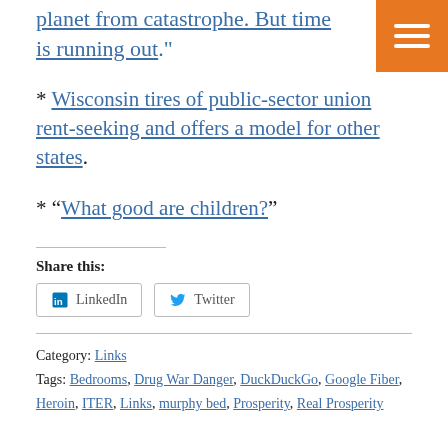planet from catastrophe. But time is running out."
* Wisconsin tires of public-sector union rent-seeking and offers a model for other states.
* “What good are children?”
Share this:
LinkedIn  Twitter
Category: Links
Tags: Bedrooms, Drug War Danger, DuckDuckGo, Google Fiber, Heroin, ITER, Links, murphy bed, Prosperity, Real Prosperity